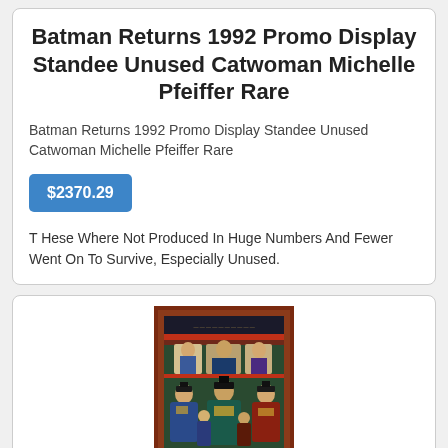Batman Returns 1992 Promo Display Standee Unused Catwoman Michelle Pfeiffer Rare
Batman Returns 1992 Promo Display Standee Unused Catwoman Michelle Pfeiffer Rare
$2370.29
T Hese Where Not Produced In Huge Numbers And Fewer Went On To Survive, Especially Unused.
[Figure (photo): A painting or poster depicting several figures in traditional East Asian attire, with colorful robes, seated and standing in a group portrait style against a decorative background.]